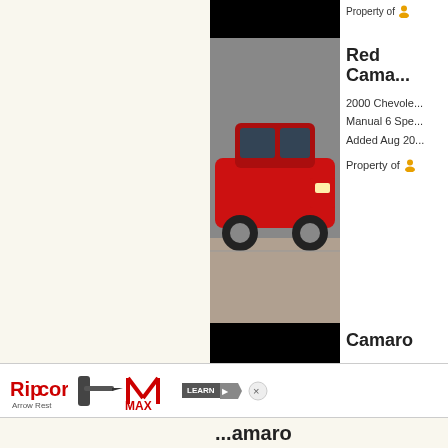[Figure (photo): Partially visible top listing with car image clipped]
Property of [user icon]
Red Cama...
2000 Chevole... Manual 6 Spe... Added Aug 20...
Property of [user icon]
Camaro
[Figure (photo): Black background with white car silhouette icon]
2000 Chevole... Automatic 4 S... Added Mar 20...
Property of [user icon]
Camaro S...
[Figure (photo): Gray/silver 2000 Chevrolet Camaro SS parked on gravel]
2000 Chevole... Standard 6 Sp... Added Sep 20...
Property of [user icon]
[Figure (photo): Ripcord Arrow Rest advertisement banner at bottom]
...amaro